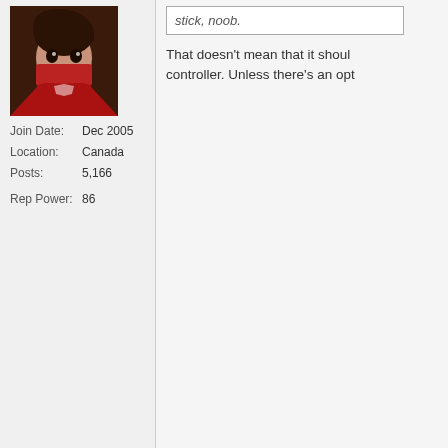[Figure (photo): Anime character avatar with red scarf/mask, dark hair]
Join Date: Dec 2005
Location: Canada
Posts: 5,166
Rep Power: 86
stick, noob.
That doesn't mean that it should controller. Unless there's an opt
03-16-2010, 10:12 PM
m68k
Wildside Expert
[Figure (photo): Photo of a Motorola MC68EC000FN10 microchip, square black chip with pins on all sides]
Join Date: Jan 2010
Location: USA
Posts: 236
I have a dreamcast. I just got it When I got it however, it smelle had to take apart the entire thin

I just need to figure out which g